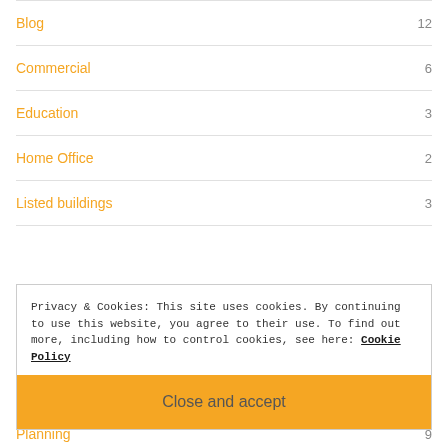Blog  12
Commercial  6
Education  3
Home Office  2
Listed buildings  3
Privacy & Cookies: This site uses cookies. By continuing to use this website, you agree to their use. To find out more, including how to control cookies, see here: Cookie Policy
Close and accept
Planning  9